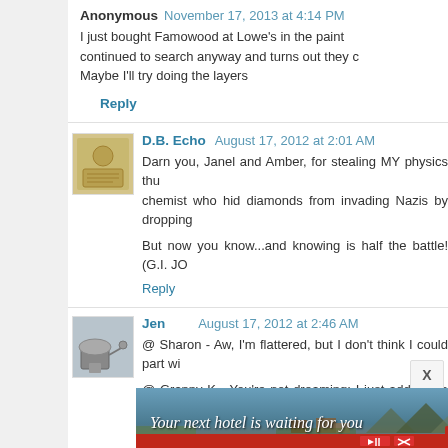Anonymous November 17, 2013 at 4:14 PM
I just bought Famowood at Lowe's in the paint continued to search anyway and turns out they c Maybe I'll try doing the layers
Reply
D.B. Echo August 17, 2012 at 2:01 AM
Darn you, Janel and Amber, for stealing MY physics thu chemist who hid diamonds from invading Nazis by dropping
But now you know...and knowing is half the battle! (G.I. JO
Reply
Jen August 17, 2012 at 2:46 AM
@ Sharon - Aw, I'm flattered, but I don't think I could part wi
@ Granny K - You're not dreaming; I just added the video a
Reply
[Figure (infographic): Advertisement banner: 'Your next hotel is waiting for you' with hotel/landscape background image and red control bar with play/close buttons]